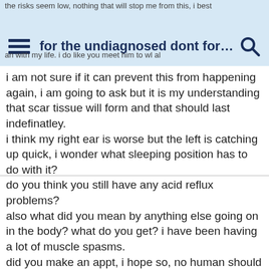the risks seem low, nothing that will stop me from this, i best for the undiagnosed dont forget... an with my life. i do like you meet him to wl al i am not sure if it can prevent this from happening again, i
i am not sure if it can prevent this from happening again, i am going to ask but it is my understanding that scar tissue will form and that should last indefinatley.
i think my right ear is worse but the left is catching up quick, i wonder what sleeping position has to do with it?
do you think you still have any acid reflux problems?
also what did you mean by anything else going on in the body? what do you get? i have been having a lot of muscle spasms.
did you make an appt, i hope so, no human should have to live with these disturbing symptoms. lib